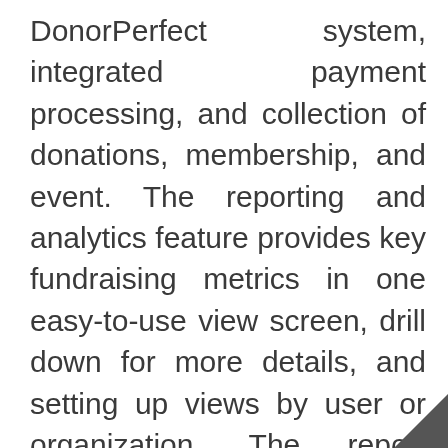DonorPerfect system, integrated payment processing, and collection of donations, membership, and event. The reporting and analytics feature provides key fundraising metrics in one easy-to-use view screen, drill down for more details, and setting up views by user or organization. The report center enables filtering of the date range and gift amounts quickly.